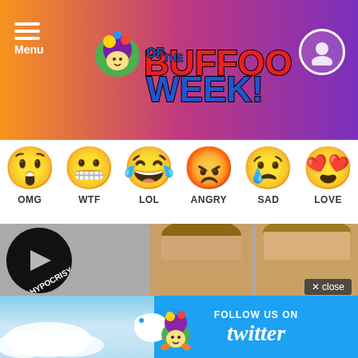Buffoon of the Week!
[Figure (illustration): Emoji reaction icons row: OMG (shocked face), WTF (grimacing face), LOL (laughing face), ANGRY (angry face), SAD (crying face), LOVE (heart eyes face), and WINNING (sunglasses cool face) with labels beneath each emoji]
[Figure (screenshot): Website content area showing a circular Hypocrisy thumbnail with play button, two partially visible faces/heads in gray background]
[Figure (illustration): Twitter follow banner with cloud sky background, jester mascot character, Twitter bird logo, and text FOLLOW US ON twitter]